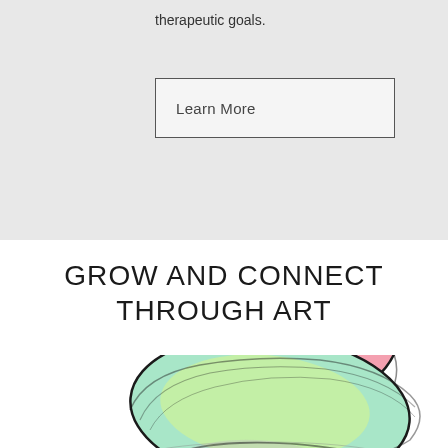therapeutic goals.
Learn More
GROW AND CONNECT THROUGH ART
[Figure (illustration): Watercolor illustrations of stacked smooth stones/pebbles with black contour lines — a pink/magenta stone on top, a green/yellow stone in the middle, and a partially visible darker stone at the bottom, on a white background.]